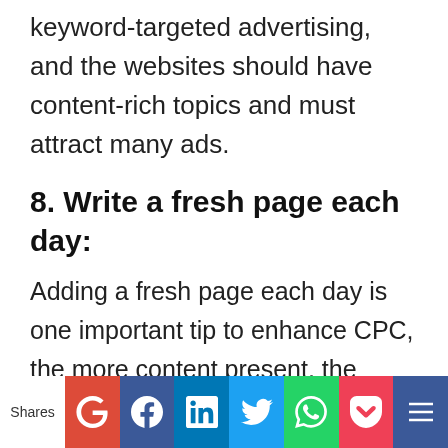keyword-targeted advertising, and the websites should have content-rich topics and must attract many ads.
8. Write a fresh page each day:
Adding a fresh page each day is one important tip to enhance CPC, the more content present, the number of visitors is obtained. An AdSense unit can be placed on each and every page of the site.
[Figure (infographic): Social sharing bar with icons for Google+, Facebook, LinkedIn, Twitter, WhatsApp, Pocket, and another platform. A 'Shares' label appears on the left.]